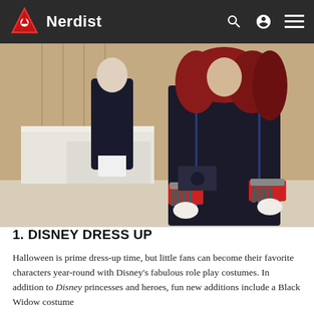Nerdist
[Figure (photo): Two mannequins displaying Marvel superhero costumes — Black Widow costume with red hair and dark leather suit with red and silver gauntlets, and another dark suit figure in background, displayed on white platform in showroom setting]
1. DISNEY DRESS UP
Halloween is prime dress-up time, but little fans can become their favorite characters year-round with Disney's fabulous role play costumes. In addition to Disney princesses and heroes, fun new additions include a Black Widow costume